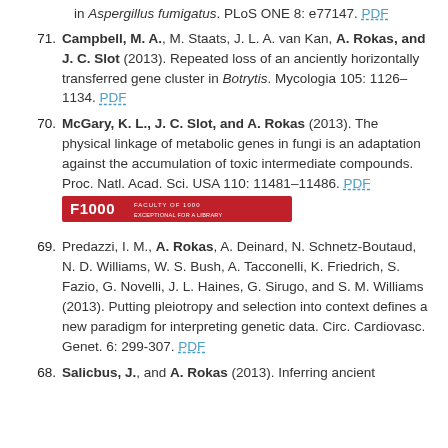in Aspergillus fumigatus. PLoS ONE 8: e77147. PDF
71. Campbell, M. A., M. Staats, J. L. A. van Kan, A. Rokas, and J. C. Slot (2013). Repeated loss of an anciently horizontally transferred gene cluster in Botrytis. Mycologia 105: 1126–1134. PDF
70. McGary, K. L., J. C. Slot, and A. Rokas (2013). The physical linkage of metabolic genes in fungi is an adaptation against the accumulation of toxic intermediate compounds. Proc. Natl. Acad. Sci. USA 110: 11481–11486. PDF
[Figure (logo): F1000 Faculty of 1000 badge/logo in red]
69. Predazzi, I. M., A. Rokas, A. Deinard, N. Schnetz-Boutaud, N. D. Williams, W. S. Bush, A. Tacconelli, K. Friedrich, S. Fazio, G. Novelli, J. L. Haines, G. Sirugo, and S. M. Williams (2013). Putting pleiotropy and selection into context defines a new paradigm for interpreting genetic data. Circ. Cardiovasc. Genet. 6: 299-307. PDF
68. Salicbus, J., and A. Rokas (2013). Inferring ancient...